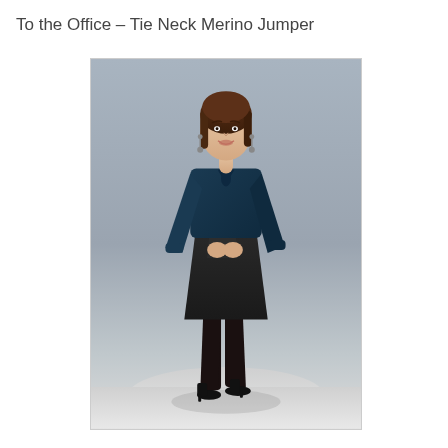To the Office – Tie Neck Merino Jumper
[Figure (photo): A woman wearing a navy tie-neck merino jumper with long sleeves and a black knee-length skirt, standing in a professional pose against a grey studio background. She has brown hair, is wearing drop earrings and black high-heel shoes.]